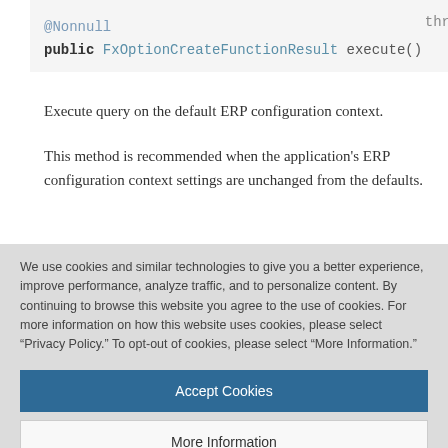@Nonnull
public FxOptionCreateFunctionResult execute()
  thr
Execute query on the default ERP configuration context.

This method is recommended when the application's ERP configuration context settings are unchanged from the defaults.
We use cookies and similar technologies to give you a better experience, improve performance, analyze traffic, and to personalize content. By continuing to browse this website you agree to the use of cookies. For more information on how this website uses cookies, please select "Privacy Policy." To opt-out of cookies, please select "More Information."
Accept Cookies
More Information
Privacy Policy | Powered by: TrustArc